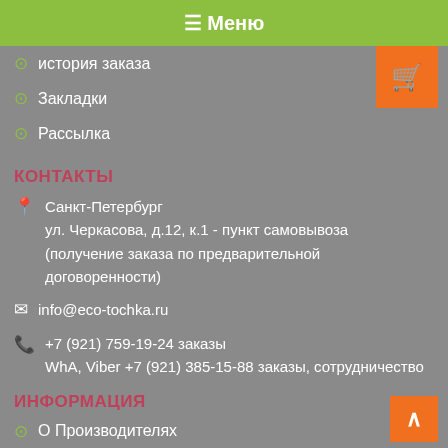☰ Меню
история заказа
Закладки
Рассылка
КОНТАКТЫ
Санкт-Петербург
ул. Черкасова, д.12, к.1 - пункт самовывоза
(получение заказа по предварительной договоренности)
info@eco-tochka.ru
+7 (921) 759-19-24 заказы
WhA, Viber +7 (921) 385-15-88 заказы, сотрудничество
ИНФОРМАЦИЯ
О Производителях
Контакты
Доставка
Условия соглашения
Политика конфиденциальности
ДОПОЛНИТЕЛЬНО